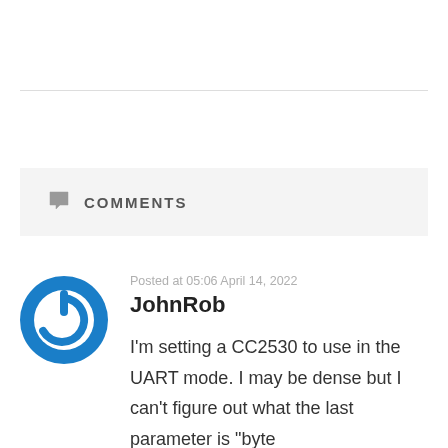COMMENTS
Posted at 05:06 April 14, 2022
JohnRob
I'm setting a CC2530 to use in the UART mode. I may be dense but I can't figure out what the last parameter is "byte